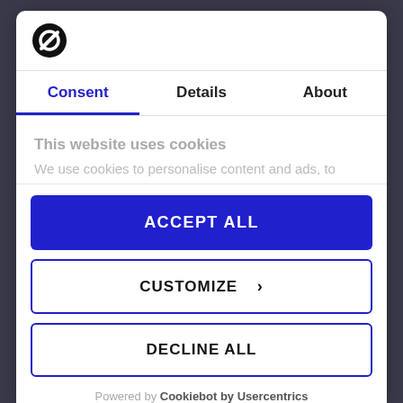[Figure (logo): Cookiebot logo: black circle with white diagonal prohibition-style icon]
Consent | Details | About
This website uses cookies
We use cookies to personalise content and ads, to
ACCEPT ALL
CUSTOMIZE >
DECLINE ALL
Powered by Cookiebot by Usercentrics
data on behalf of Albacross Nordic AB ("Albacross")